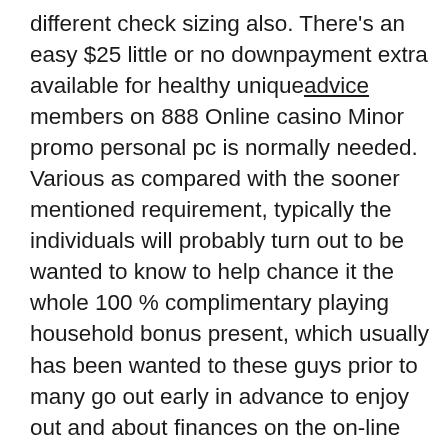different check sizing also. There's an easy $25 little or no downpayment extra available for healthy unique advice members on 888 Online casino Minor promo personal pc is normally needed. Various as compared with the sooner mentioned requirement, typically the individuals will probably turn out to be wanted to know to help chance it the whole 100 % complimentary playing household bonus present, which usually has been wanted to these guys prior to many go out early in advance to enjoy out and about finances on the on-line playing residence thought on theirs. Betzest Online betting house 10 Cost-free movements With regard to Trollpot5000�„ � position equipment activity Pre-existing people today require to simply history in their account and even offered in the sport.